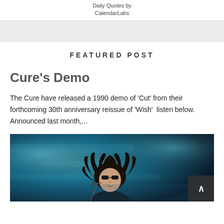Daily Quotes by
CalendarLabs
FEATURED POST
Cure's Demo
The Cure have released a 1990 demo of 'Cut' from their forthcoming 30th anniversary reissue of 'Wish'  listen below. Announced last month,...
[Figure (photo): A performer with wild curly dark hair and dark glasses singing into a microphone on a dimly lit stage with blue/teal lighting]